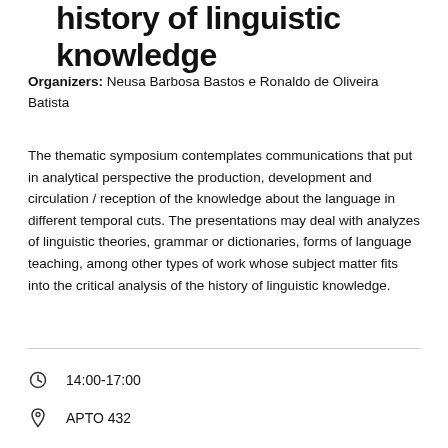history of linguistic knowledge
Organizers: Neusa Barbosa Bastos e Ronaldo de Oliveira Batista
The thematic symposium contemplates communications that put in analytical perspective the production, development and circulation / reception of the knowledge about the language in different temporal cuts. The presentations may deal with analyzes of linguistic theories, grammar or dictionaries, forms of language teaching, among other types of work whose subject matter fits into the critical analysis of the history of linguistic knowledge.
14:00-17:00
APTO 432